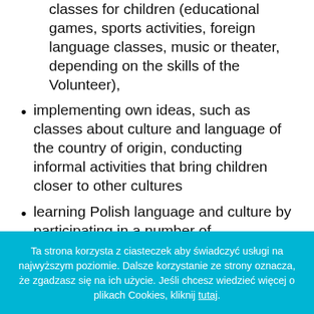classes for children (educational games, sports activities, foreign language classes, music or theater, depending on the skills of the Volunteer),
implementing own ideas, such as classes about culture and language of the country of origin, conducting informal activities that bring children closer to other cultures
learning Polish language and culture by participating in a number of kindergarden activities related to religious or national holidays
The volunteer's in Primary School tasks will
Ta strona korzysta z ciasteczek aby świadczyć usługi na najwyższym poziomie. Dalsze korzystanie ze strony oznacza, że zgadzasz się na ich użycie. Jeśli chcesz wiedzieć więcej o plikach Cookies, kliknij tutaj.